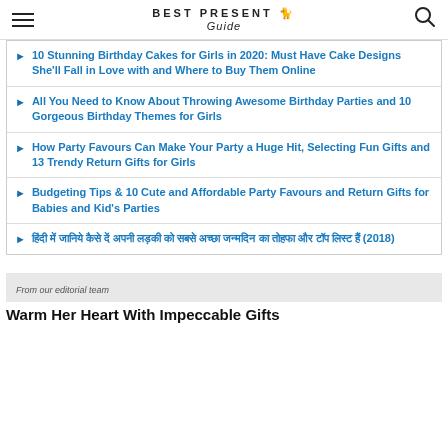BEST PRESENT Guide
10 Stunning Birthday Cakes for Girls in 2020: Must Have Cake Designs She'll Fall in Love with and Where to Buy Them Online
All You Need to Know About Throwing Awesome Birthday Parties and 10 Gorgeous Birthday Themes for Girls
How Party Favours Can Make Your Party a Huge Hit, Selecting Fun Gifts and 13 Trendy Return Gifts for Girls
Budgeting Tips & 10 Cute and Affordable Party Favours and Return Gifts for Babies and Kid's Parties
हिंदी में जानिये कैसे दें अपनी लड़की को सबसे अच्छा जन्मदिन का तोहफा और टॉप लिस्ट हैं (2018)
From our editorial team
Warm Her Heart With Impeccable Gifts